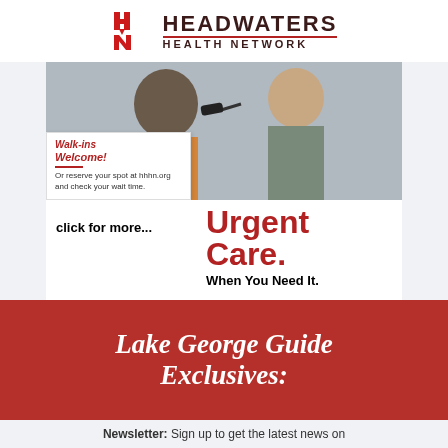[Figure (logo): Hudson Headwaters Health Network logo with HH icon in red and organization name]
[Figure (photo): Medical provider examining a male patient's ear with an otoscope. Walk-ins Welcome card overlay with text: Or reserve your spot at hhhn.org and check your wait time. Urgent Care. When You Need It. click for more...]
Lake George Guide Exclusives:
Newsletter: Sign up to get the latest news on